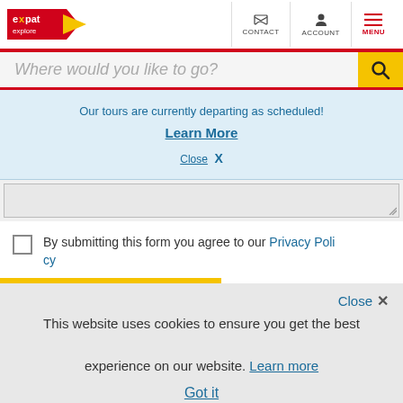Expat Explore — CONTACT | ACCOUNT | MENU
Where would you like to go?
Our tours are currently departing as scheduled!
Learn More
Close X
By submitting this form you agree to our Privacy Policy
Close X
This website uses cookies to ensure you get the best experience on our website. Learn more
Got it